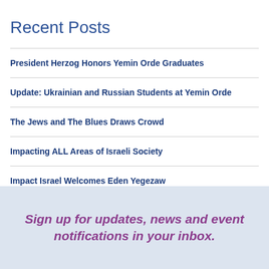Recent Posts
President Herzog Honors Yemin Orde Graduates
Update: Ukrainian and Russian Students at Yemin Orde
The Jews and The Blues Draws Crowd
Impacting ALL Areas of Israeli Society
Impact Israel Welcomes Eden Yegezaw
Sign up for updates, news and event notifications in your inbox.